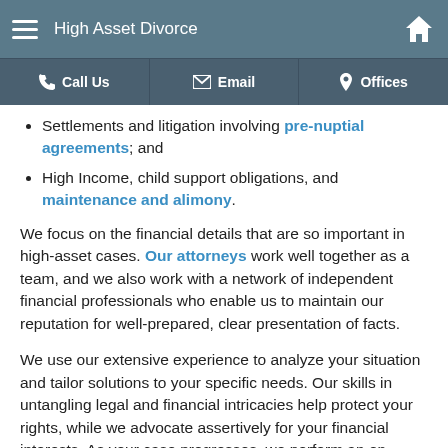High Asset Divorce
Settlements and litigation involving pre-nuptial agreements; and
High Income, child support obligations, and maintenance and alimony.
We focus on the financial details that are so important in high-asset cases. Our attorneys work well together as a team, and we also work with a network of independent financial professionals who enable us to maintain our reputation for well-prepared, clear presentation of facts.
We use our extensive experience to analyze your situation and tailor solutions to your specific needs. Our skills in untangling legal and financial intricacies help protect your rights, while we advocate assertively for your financial interests. As your case progresses, we perform an on-going cost/benefit analysis to keep you apprised of the costs of